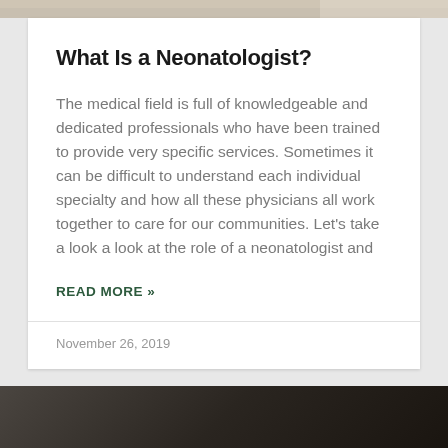[Figure (photo): Top portion of a photo showing a medical/neonatal scene, partially cropped]
What Is a Neonatologist?
The medical field is full of knowledgeable and dedicated professionals who have been trained to provide very specific services. Sometimes it can be difficult to understand each individual specialty and how all these physicians all work together to care for our communities. Let's take a look a look at the role of a neonatologist and
READ MORE »
November 26, 2019
[Figure (photo): Bottom portion showing a close-up of what appears to be a newborn baby in dark clothing/blanket]